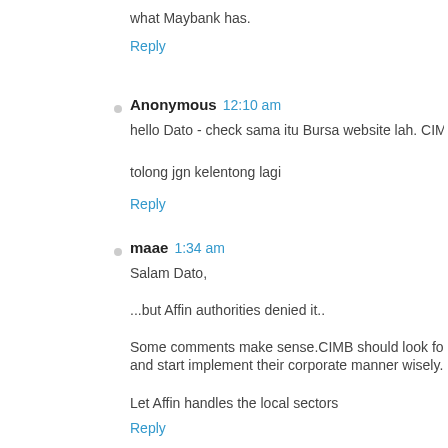what Maybank has.
Reply
Anonymous  12:10 am
hello Dato - check sama itu Bursa website lah. CIMB bilang not in
tolong jgn kelentong lagi
Reply
maae  1:34 am
Salam Dato,
...but Affin authorities denied it..
Some comments make sense.CIMB should look for better oppor and start implement their corporate manner wisely.
Let Affin handles the local sectors
Reply